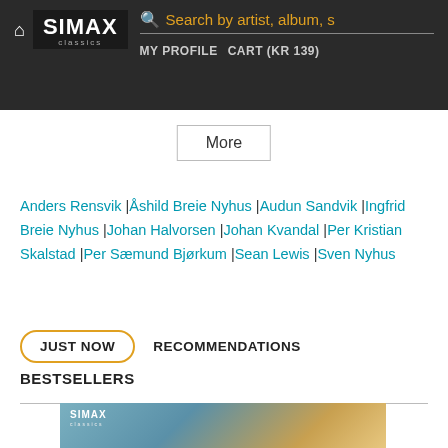SIMAX classics | Search by artist, album, s | MY PROFILE | CART (KR 139)
More
Anders Rensvik | Åshild Breie Nyhus | Audun Sandvik | Ingfrid Breie Nyhus | Johan Halvorsen | Johan Kvandal | Per Kristian Skalstad | Per Sæmund Bjørkum | Sean Lewis | Sven Nyhus
JUST NOW   RECOMMENDATIONS
BESTSELLERS
[Figure (photo): SIMAX classics album cover art showing a misty, painterly scene with warm golden tones and cool blue-grey background, with a figure or creature emerging from water or fog]